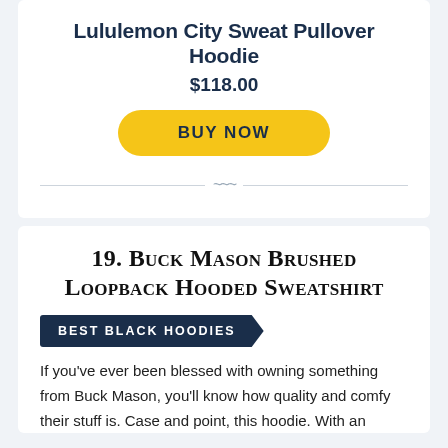Lululemon City Sweat Pullover Hoodie
$118.00
BUY NOW
19. Buck Mason Brushed Loopback Hooded Sweatshirt
BEST BLACK HOODIES
If you've ever been blessed with owning something from Buck Mason, you'll know how quality and comfy their stuff is. Case and point, this hoodie. With an